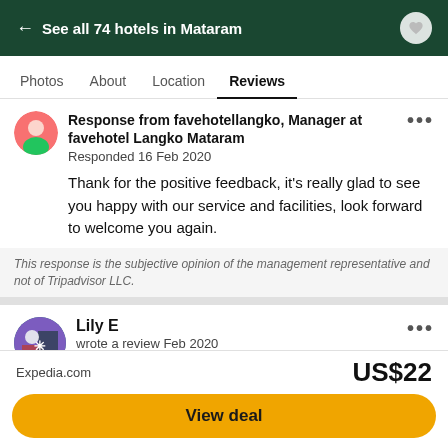← See all 74 hotels in Mataram
Photos  About  Location  Reviews
Response from favehotellangko, Manager at favehotel Langko Mataram
Responded 16 Feb 2020
Thank for the positive feedback, it's really glad to see you happy with our service and facilities, look forward to welcome you again.
This response is the subjective opinion of the management representative and not of Tripadvisor LLC.
Lily E
wrote a review Feb 2020
Perth, Australia
210 contributions • 21 helpful votes
Expedia.com  US$22
View deal